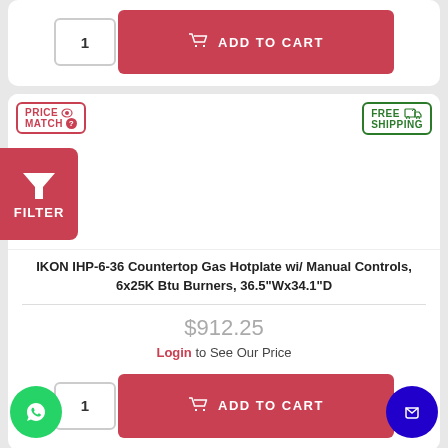[Figure (screenshot): Top add to cart row with quantity box showing '1' and red ADD TO CART button with shopping cart icon]
[Figure (screenshot): Price Match badge (red border, top left) and Free Shipping badge (green border, top right) on product card]
[Figure (screenshot): FILTER button (red background, funnel icon) overlaid on left side of page]
IKON IHP-6-36 Countertop Gas Hotplate wi/ Manual Controls, 6x25K Btu Burners, 36.5"Wx34.1"D
$912.25
Login to See Our Price
[Figure (screenshot): Bottom add to cart row with quantity box '1' and red ADD TO CART button]
[Figure (screenshot): Green WhatsApp circular button bottom left]
[Figure (screenshot): Blue chat circular button bottom right]